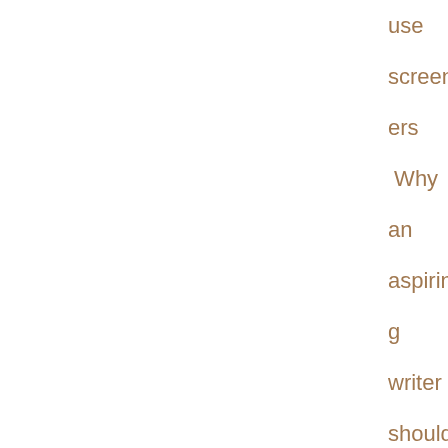use screeners Why an aspiring writer should neither cold-call an agency nor show up on its doorstep Why do I